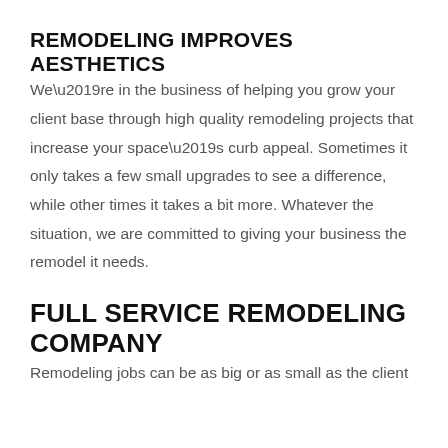REMODELING IMPROVES AESTHETICS
We’re in the business of helping you grow your client base through high quality remodeling projects that increase your space’s curb appeal. Sometimes it only takes a few small upgrades to see a difference, while other times it takes a bit more. Whatever the situation, we are committed to giving your business the remodel it needs.
FULL SERVICE REMODELING COMPANY
Remodeling jobs can be as big or as small as the client